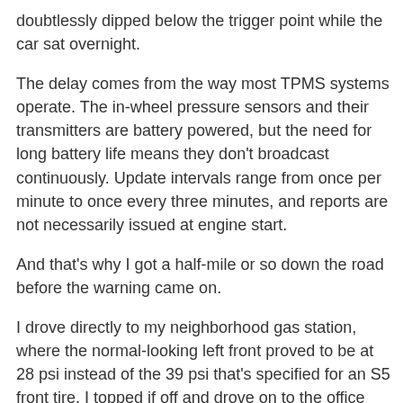doubtlessly dipped below the trigger point while the car sat overnight.
The delay comes from the way most TPMS systems operate. The in-wheel pressure sensors and their transmitters are battery powered, but the need for long battery life means they don't broadcast continuously. Update intervals range from once per minute to once every three minutes, and reports are not necessarily issued at engine start.
And that's why I got a half-mile or so down the road before the warning came on.
I drove directly to my neighborhood gas station, where the normal-looking left front proved to be at 28 psi instead of the 39 psi that's specified for an S5 front tire. I topped if off and drove on to the office without further incident.
The reason for this pre-dawn delay was a leaking plug/patch installed last month after Brent picked up a large hunk of debris.